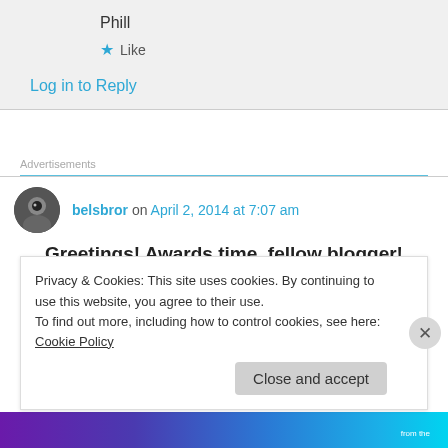Phill
★ Like
Log in to Reply
Advertisements
belsbror on April 2, 2014 at 7:07 am
Greetings! Awards time, fellow blogger!
Privacy & Cookies: This site uses cookies. By continuing to use this website, you agree to their use.
To find out more, including how to control cookies, see here: Cookie Policy